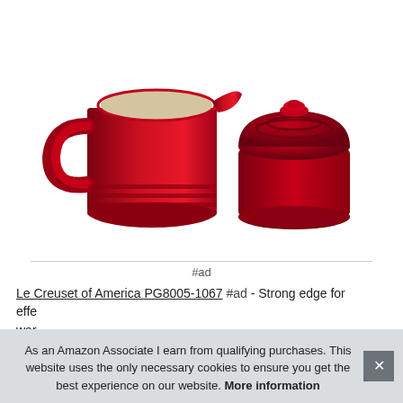[Figure (photo): Le Creuset red ceramic creamer pitcher and covered sugar bowl set on white background]
#ad
Le Creuset of America PG8005-1067 #ad - Strong edge for effe... war... stai... with... and...
As an Amazon Associate I earn from qualifying purchases. This website uses the only necessary cookies to ensure you get the best experience on our website. More information